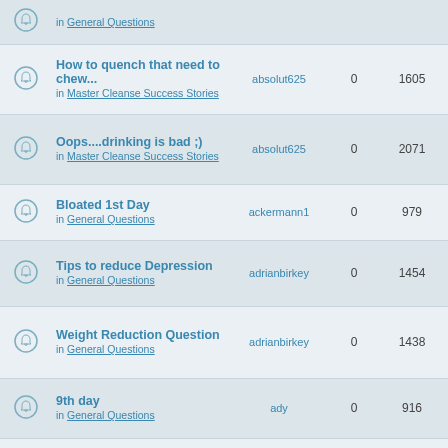|  | Topic | Author | Replies | Views | Last Post |
| --- | --- | --- | --- | --- | --- |
| (icon) | in General Questions |  |  |  |  |
| (icon) | How to quench that need to chew...
in Master Cleanse Success Stories | absolut625 | 0 | 1605 | Sun Mar 14 2:58 p absolut625 |
| (icon) | Oops....drinking is bad ;)
in Master Cleanse Success Stories | absolut625 | 0 | 2071 | Sun Jun 13 5:12 a absolut625 |
| (icon) | Bloated 1st Day
in General Questions | ackermann1 | 0 | 979 | Fri Mar 02, 12:44 p ackermann |
| (icon) | Tips to reduce Depression
in General Questions | adrianbirkey | 0 | 1454 | Thu Oct 01 9:04 p adrianbirke |
| (icon) | Weight Reduction Question
in General Questions | adrianbirkey | 0 | 1438 | Thu Oct 01 9:03 p adrianbirke |
| (icon) | 9th day
in General Questions | ady | 0 | 916 | Thu May 10 11:09 a ady → |
| (icon) | Drug Evista lowest prescription price | ady | 0 | 993 | Thu Jan 08 7:35 a |